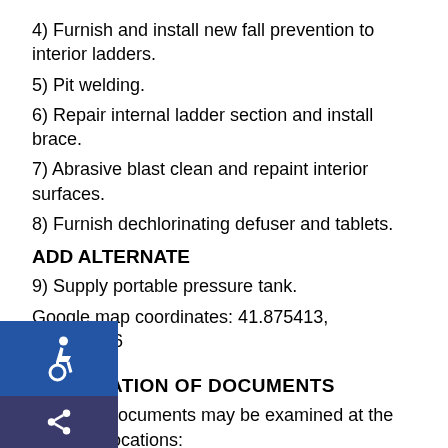4) Furnish and install new fall prevention to interior ladders.
5) Pit welding.
6) Repair internal ladder section and install brace.
7) Abrasive blast clean and repaint interior surfaces.
8) Furnish dechlorinating defuser and tablets.
ADD ALTERNATE
9) Supply portable pressure tank.
Google map coordinates: 41.875413, -85.202866
EXAMINATION OF DOCUMENTS
Contract Documents may be examined at the following locations:
C, Inc.
0 National Parkway
ing MI 48906